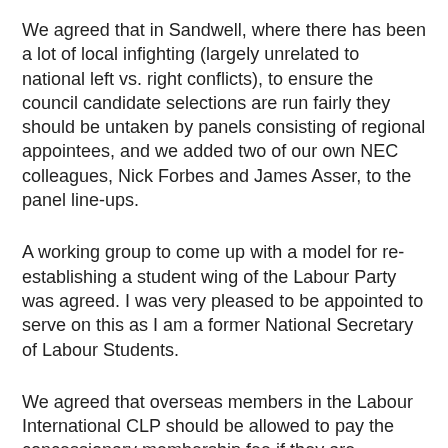We agreed that in Sandwell, where there has been a lot of local infighting (largely unrelated to national left vs. right conflicts), to ensure the council candidate selections are run fairly they should be untaken by panels consisting of regional appointees, and we added two of our own NEC colleagues, Nick Forbes and James Asser, to the panel line-ups.
A working group to come up with a model for re-establishing a student wing of the Labour Party was agreed. I was very pleased to be appointed to serve on this as I am a former National Secretary of Labour Students.
We agreed that overseas members in the Labour International CLP should be allowed to pay the concessionary membership fee if they are unwaged, when previously all overseas members had been charged the full rate.
Finally...